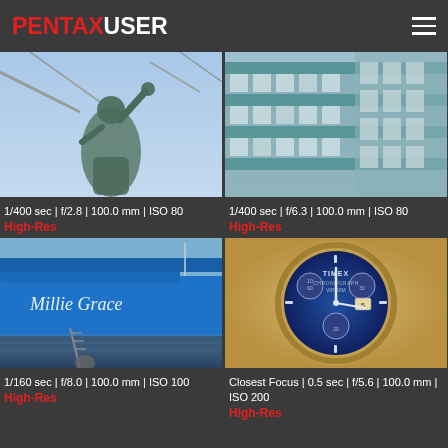PENTAXUSER
[Figure (photo): Bronze statue of a boy with arm raised, outdoor against tree branches and blue sky]
1/400 sec | f/2.8 | 100.0 mm | ISO 80
High-Res
[Figure (photo): Modern glass and steel building facade with balconies and teal/blue tones]
1/400 sec | f/6.3 | 100.0 mm | ISO 80
High-Res
[Figure (photo): Blue boat named Millie Grace on water with chain and metal equipment]
1/160 sec | f/8.0 | 100.0 mm | ISO 100
High-Res
[Figure (photo): Close-up of a Timex Chronograph WR 50M watch face with blue dial]
Closest Focus | 0.5 sec | f/5.6 | 100.0 mm | ISO 200
High-Res